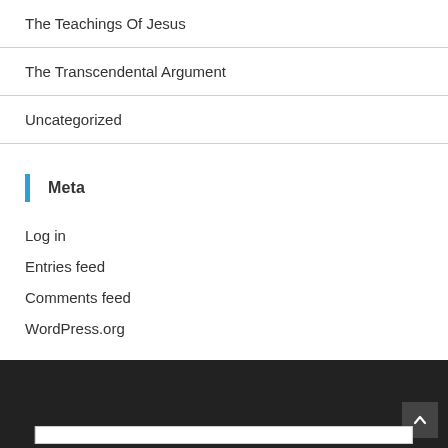The Teachings Of Jesus
The Transcendental Argument
Uncategorized
Meta
Log in
Entries feed
Comments feed
WordPress.org